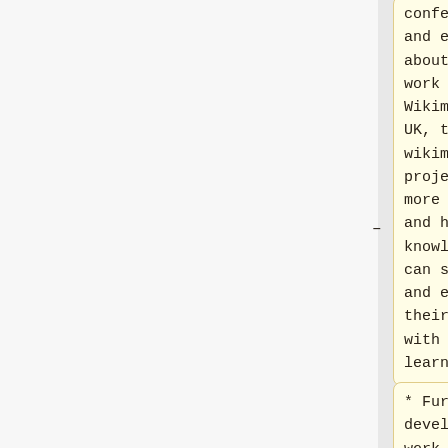– conferences and events about the work of Wikimedia UK, the wikimedia projects more broadly and how open knowledge can support and enrich their work with learners
* Further develop our work within the higher education